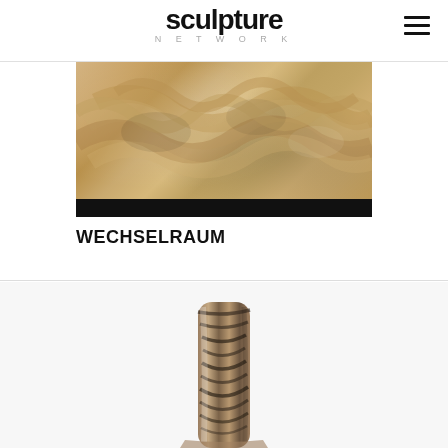sculpture NETWORK
[Figure (photo): A relief sculpture showing intertwined figures or organic forms in beige/tan clay or stone material, with label 'WECHSELRAUM' at bottom left and a dark bar at the bottom of the image.]
WECHSELRAUM
[Figure (photo): A twisted column-like sculpture with dark spiral striations on a light-colored stone or ceramic body, photographed against a white background, partially visible from the bottom of the page.]